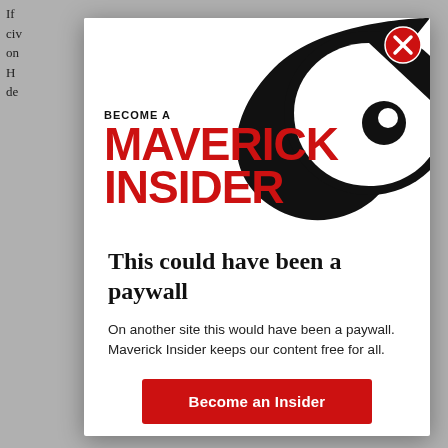If civil on H de
[Figure (screenshot): Maverick Insider modal popup with swirl logo graphic, 'BECOME A MAVERICK INSIDER' text in red, close button (X) in top right corner]
This could have been a paywall
On another site this would have been a paywall. Maverick Insider keeps our content free for all.
Become an Insider
Already an Insider? Click here to log in.